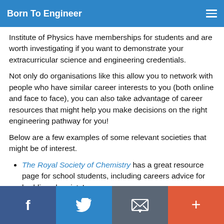Born To Engineer
Institute of Physics have memberships for students and are worth investigating if you want to demonstrate your extracurricular science and engineering credentials.
Not only do organisations like this allow you to network with people who have similar career interests to you (both online and face to face), you can also take advantage of career resources that might help you make decisions on the right engineering pathway for you!
Below are a few examples of some relevant societies that might be of interest.
The Royal Society of Chemistry has a great resource page for school students, including careers advice for budding chemists!